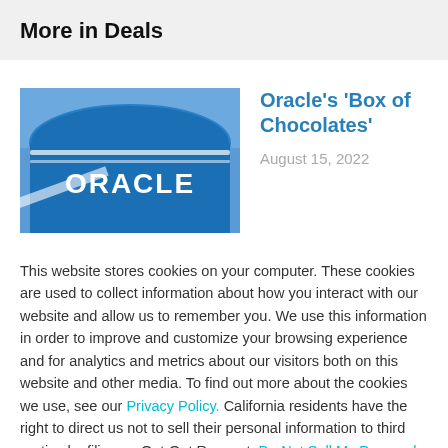More in Deals
[Figure (photo): Oracle building exterior with blue curved facade and ORACLE logo text]
Oracle’s ‘Box of Chocolates’
August 15, 2022
This website stores cookies on your computer. These cookies are used to collect information about how you interact with our website and allow us to remember you. We use this information in order to improve and customize your browsing experience and for analytics and metrics about our visitors both on this website and other media. To find out more about the cookies we use, see our Privacy Policy. California residents have the right to direct us not to sell their personal information to third parties by filing an Opt-Out Request: Do Not Sell My Personal Info.
Accept